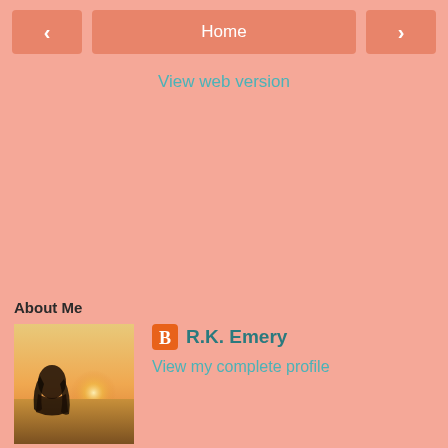< Home >
View web version
About Me
[Figure (photo): Profile photo of a person with long hair backlit by warm golden sunset light in a field]
R.K. Emery
View my complete profile